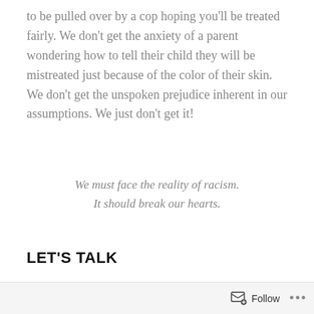to be pulled over by a cop hoping you'll be treated fairly. We don't get the anxiety of a parent wondering how to tell their child they will be mistreated just because of the color of their skin. We don't get the unspoken prejudice inherent in our assumptions. We just don't get it!
We must face the reality of racism. It should break our hearts.
LET'S TALK
The other day I posted this statement on Facebook: “We need to be outraged by what happened to George Floyd. Please use this tragedy to
Follow